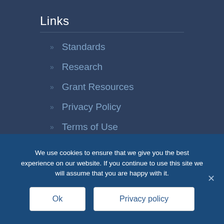Links
Standards
Research
Grant Resources
Privacy Policy
Terms of Use
We use cookies to ensure that we give you the best experience on our website. If you continue to use this site we will assume that you are happy with it.
Ok
Privacy policy